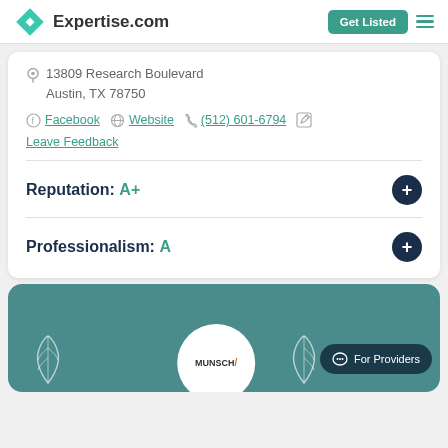Expertise.com | Get Listed
13809 Research Boulevard
Austin, TX 78750
Facebook | Website | (512) 601-6794 | Leave Feedback
Reputation:  A+
Professionalism:  A
[Figure (logo): MUNSCH logo inside a white circle on teal background with leaf decorations and a For Providers chat button]